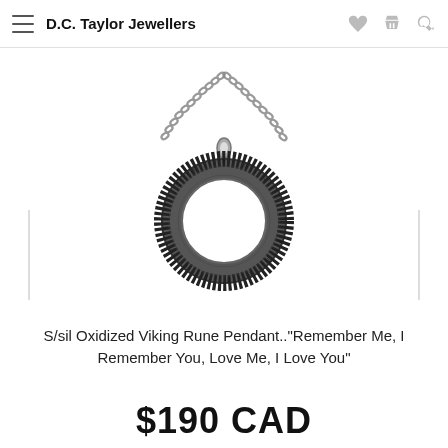D.C. Taylor Jewellers
[Figure (photo): Silver oxidized Viking rune circle pendant necklace on a chain. The pendant is a ring/circle shape with runic inscriptions around the band, with an open center, hanging from a bail and chain.]
S/sil Oxidized Viking Rune Pendant.."Remember Me, I Remember You, Love Me, I Love You"
$190 CAD